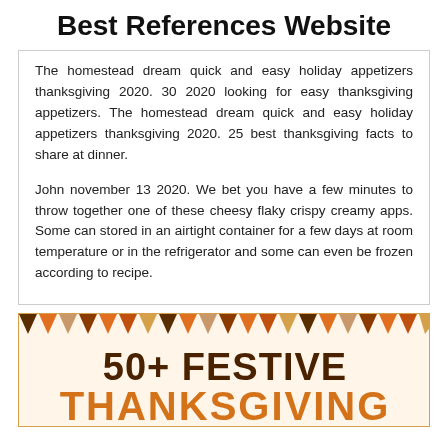Best References Website
The homestead dream quick and easy holiday appetizers thanksgiving 2020. 30 2020 looking for easy thanksgiving appetizers. The homestead dream quick and easy holiday appetizers thanksgiving 2020. 25 best thanksgiving facts to share at dinner.

John november 13 2020. We bet you have a few minutes to throw together one of these cheesy flaky crispy creamy apps. Some can stored in an airtight container for a few days at room temperature or in the refrigerator and some can even be frozen according to recipe.
[Figure (illustration): Decorative banner image with colorful bunting triangles at the top and text reading '50+ FESTIVE THANKSGIVING' in brown and orange bold lettering on a warm background.]